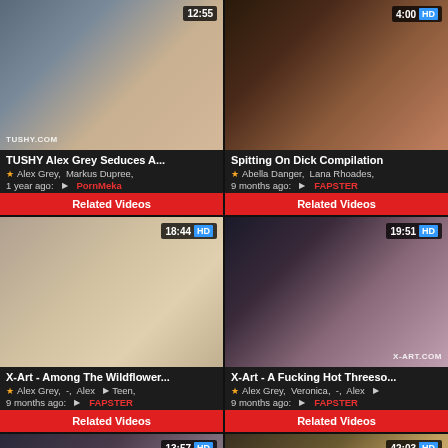[Figure (screenshot): Video thumbnail grid showing 6 adult video thumbnails with titles, metadata, and related videos buttons]
TUSHY Alex Grey Seduces A...
Alex Grey, Markus Dupree,
1 year ago: PornMeka
Related Videos
Spitting On Dick Compilation
Abella Danger, Lana Rhoades,
9 months ago: FAPSTER
Related Videos
X-Art - Among The Wildflower...
Alex Grey, -, Alex Teen,
9 months ago: FAPSTER
Related Videos
X-Art - A Fucking Hot Threeso...
Alex Grey, Veronica, -, Alex
9 months ago: FAPSTER
Related Videos
Related Videos
Related Videos